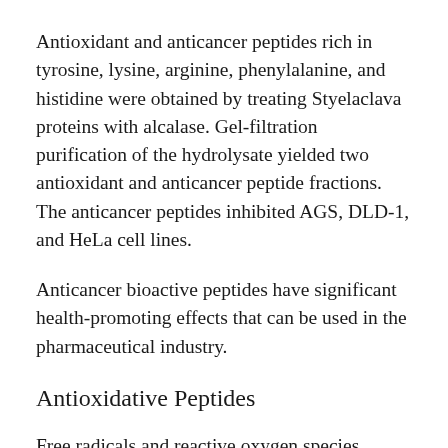Antioxidant and anticancer peptides rich in tyrosine, lysine, arginine, phenylalanine, and histidine were obtained by treating Styelaclava proteins with alcalase. Gel-filtration purification of the hydrolysate yielded two antioxidant and anticancer peptide fractions. The anticancer peptides inhibited AGS, DLD-1, and HeLa cell lines.
Anticancer bioactive peptides have significant health-promoting effects that can be used in the pharmaceutical industry.
Antioxidative Peptides
Free radicals and reactive oxygen species (ROS) in the body cause cell damage and lead to hypertension,